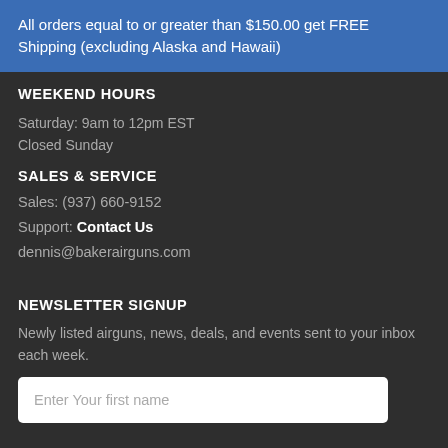All orders equal to or greater than $150.00 get FREE Shipping (excluding Alaska and Hawaii)
WEEKEND HOURS
Saturday: 9am to 12pm EST
Closed Sunday
SALES & SERVICE
Sales: (937) 660-9152
Support: Contact Us
dennis@bakerairguns.com
NEWSLETTER SIGNUP
Newly listed airguns, news, deals, and events sent to your inbox each week.
Enter Your first name